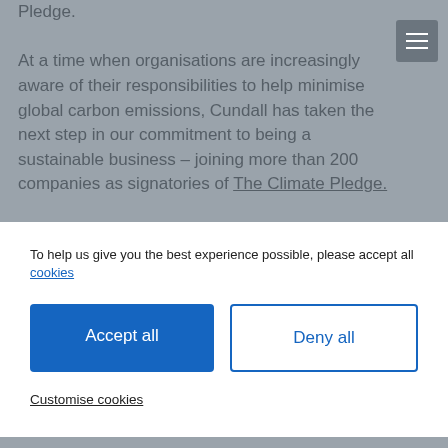Pledge. At a time when organisations are increasingly aware of their responsibilities to help minimise global carbon emissions, Cundall has taken the next step in our commitment to being a sustainable business – joining more than 200 companies as signatories of The Climate Pledge.
To help us give you the best experience possible, please accept all cookies
Accept all
Deny all
Customise cookies